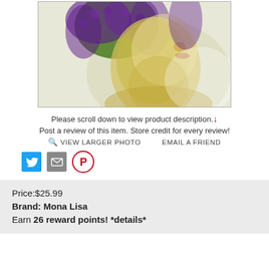[Figure (illustration): Partial view of an artistic illustration of a woman with purple and green curly hair, yellow-toned skin, shown from shoulders up against a white/light background. Cropped at top showing from mid-head down to neck/shoulder area.]
Please scroll down to view product description.↓
Post a review of this item. Store credit for every review!
🔍 VIEW LARGER PHOTO   EMAIL A FRIEND
[Figure (other): Social media sharing icons: Twitter (blue square), Email (grey square), Pinterest (red circle with P)]
Price:$25.99
Brand: Mona Lisa
Earn 26 reward points! *details*